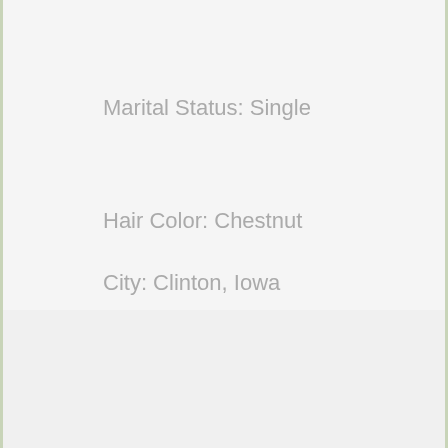Marital Status: Single
Hair Color: Chestnut
City: Clinton, Iowa
[Figure (photo): Photo of a young woman with reddish-chestnut hair, watermarked with ciderhousehostas.com]